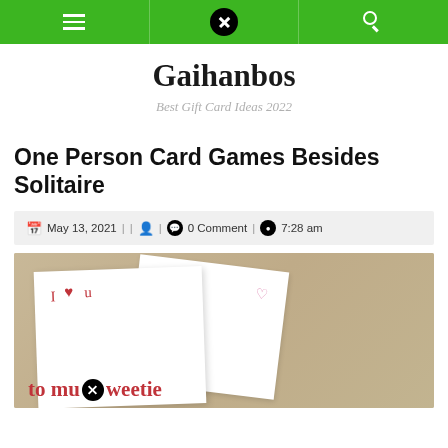Navigation bar with menu, logo, and search icons
Gaihanbos
Best Gift Card Ideas 2022
One Person Card Games Besides Solitaire
May 13, 2021 | | [user icon] | [comment icon] 0 Comment | [clock icon] 7:28 am
[Figure (photo): Two white greeting cards on a tan/beige background. The front card shows 'I ♥ u' in red handwriting and the text 'to my sweetie' partially visible. The back card has a small heart outline.]